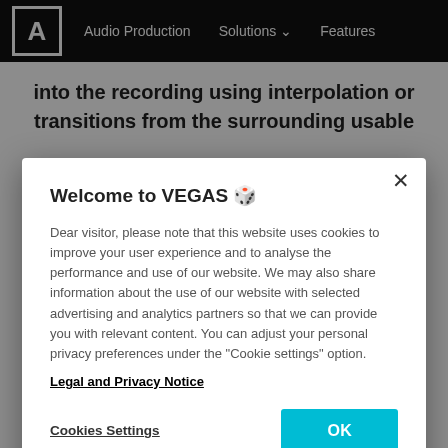Audio Production    Solutions    Features
into the recording using interpolation or transitions from the surrounding usable
Welcome to VEGAS 🔒
Dear visitor, please note that this website uses cookies to improve your user experience and to analyse the performance and use of our website. We may also share information about the use of our website with selected advertising and analytics partners so that we can provide you with relevant content. You can adjust your personal privacy preferences under the "Cookie settings" option.
Legal and Privacy Notice
Cookies Settings
OK
spectrum. Specific notes can be removed